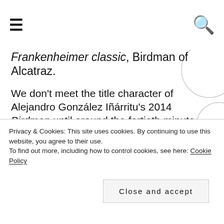☰ [menu icon] | 🔍 [search icon]
Frankenheimer classic, Birdman of Alcatraz.
We don't meet the title character of Alejandro González Iñárritu's 2014 Birdman until around the fortieth minute, when he is pictured striding along West 49th, near M&M's World, deep in conversation with the protagonist Michael Keaton, his best friend and seemingly the only person who can see him or hear him. Superhero Birdman in his black cape and beaked hood, with Spidermanesque chiseled lips and chin, lycra
Privacy & Cookies: This site uses cookies. By continuing to use this website, you agree to their use.
To find out more, including how to control cookies, see here: Cookie Policy
Close and accept